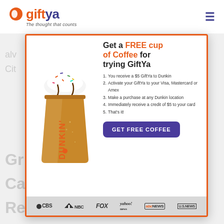[Figure (logo): GiftYa logo with orange circle icon and purple/orange text 'giftya', tagline 'The thought that counts']
[Figure (infographic): GiftYa promotional modal ad: Get a FREE cup of Coffee for trying GiftYa. Shows Dunkin iced coffee drink. Lists 5 steps. Button: GET FREE COFFEE. Footer shows CBS, NBC, FOX, yahoo! news, abc NEWS, US.NEWS logos.]